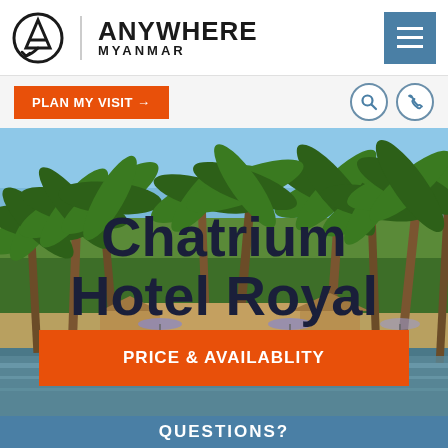[Figure (logo): Anywhere Myanmar logo with circular icon and text]
PLAN MY VISIT →
[Figure (photo): Hotel pool area with palm trees and blue sky background]
Chatrium Hotel Royal
PRICE & AVAILABLITY
QUESTIONS?